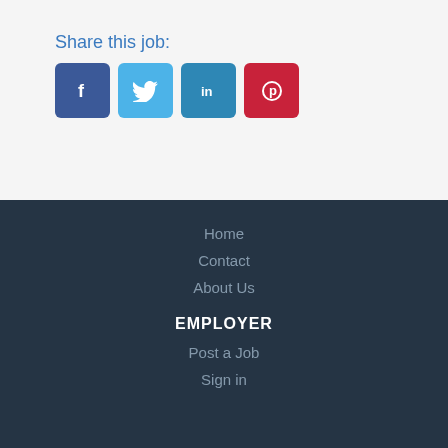Share this job:
[Figure (infographic): Four social media sharing buttons: Facebook (dark blue), Twitter (light blue), LinkedIn (medium blue), Pinterest (red)]
Home
Contact
About Us
EMPLOYER
Post a Job
Sign in